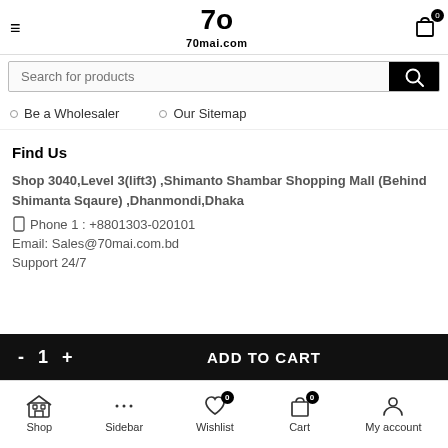70mai.com
Search for products
Be a Wholesaler
Our Sitemap
Find Us
Shop 3040,Level 3(lift3) ,Shimanto Shambar Shopping Mall (Behind Shimanta Sqaure) ,Dhanmondi,Dhaka
Phone 1 : +8801303-020101
Email: Sales@70mai.com.bd
Support 24/7
- 1 + ADD TO CART
Shop  Sidebar  Wishlist  Cart  My account